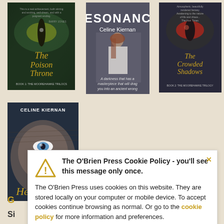[Figure (illustration): Book cover: The Poison Throne, Book 1 of the Moorehawke Trilogy by Celine Kiernan. Dark green background with cat eye and golden italic title text.]
[Figure (illustration): Book cover: Resonance by Celine Kiernan. Dark grey rocky background with a woman in white dress, bold white title text RESONANCE.]
[Figure (illustration): Book cover: The Crowded Shadows, Book 2 of the Moorehawke Trilogy. Dark background with red glowing eye, golden italic title text.]
[Figure (illustration): Book cover: Book 3 by Celine Kiernan. Dark blue/brown close-up of a man's face with blue eye and fur, showing CELINE KIERNAN at top.]
[Figure (screenshot): Cookie consent popup from The O'Brien Press website with warning triangle icon and close X button.]
The O'Brien Press Cookie Policy - you'll see this message only once.
The O'Brien Press uses cookies on this website. They are stored locally on your computer or mobile device. To accept cookies continue browsing as normal. Or go to the cookie policy for more information and preferences.
G
Si